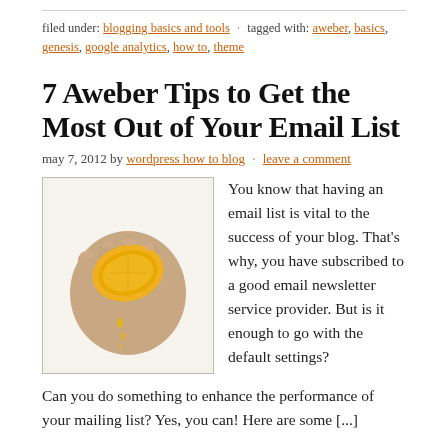filed under: blogging basics and tools · tagged with: aweber, basics, genesis, google analytics, how to, theme
7 Aweber Tips to Get the Most Out of Your Email List
may 7, 2012 by wordpress how to blog · leave a comment
[Figure (photo): A hand squeezing a lemon, with juice dripping from it, on a white background.]
You know that having an email list is vital to the success of your blog. That's why, you have subscribed to a good email newsletter service provider. But is it enough to go with the default settings? Can you do something to enhance the performance of your mailing list? Yes, you can! Here are some [...]